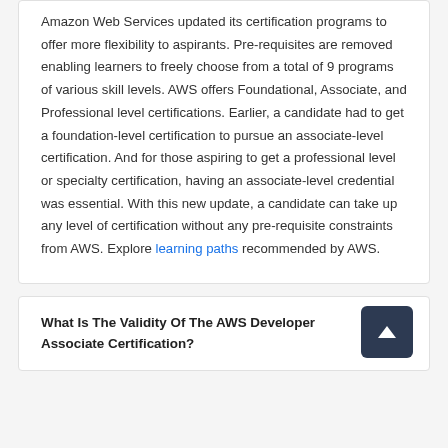Amazon Web Services updated its certification programs to offer more flexibility to aspirants. Pre-requisites are removed enabling learners to freely choose from a total of 9 programs of various skill levels. AWS offers Foundational, Associate, and Professional level certifications. Earlier, a candidate had to get a foundation-level certification to pursue an associate-level certification. And for those aspiring to get a professional level or specialty certification, having an associate-level credential was essential. With this new update, a candidate can take up any level of certification without any pre-requisite constraints from AWS. Explore learning paths recommended by AWS.
What Is The Validity Of The AWS Developer Associate Certification?